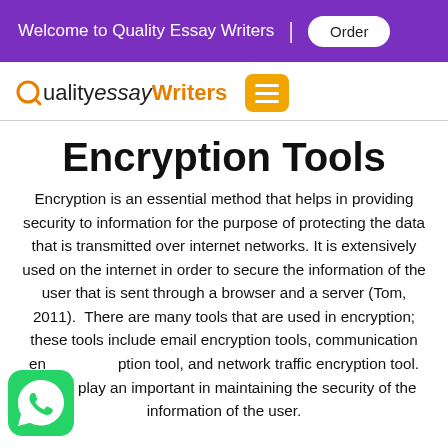Welcome to Quality Essay Writers | Order
[Figure (logo): QualityessayWriters logo with orange Q circle and hamburger menu button]
Encryption Tools
Encryption is an essential method that helps in providing security to information for the purpose of protecting the data that is transmitted over internet networks. It is extensively used on the internet in order to secure the information of the user that is sent through a browser and a server (Tom, 2011).  There are many tools that are used in encryption; these tools include email encryption tools, communication encryption tool, and network traffic encryption tool. These play an important in maintaining the security of the information of the user.